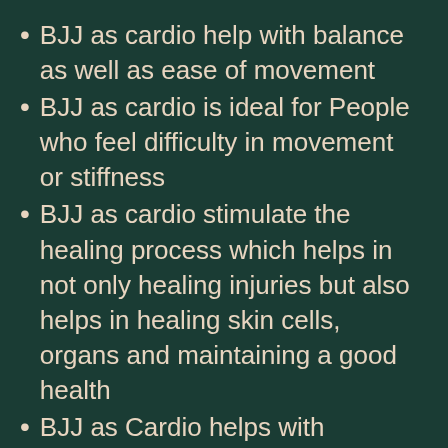BJJ as cardio help with balance as well as ease of movement
BJJ as cardio is ideal for People who feel difficulty in movement or stiffness
BJJ as cardio stimulate the healing process which helps in not only healing injuries but also helps in healing skin cells, organs and maintaining a good health
BJJ as Cardio helps with boosting immunity
BJJ as cardio has an anti-gaining effect that works well for older men